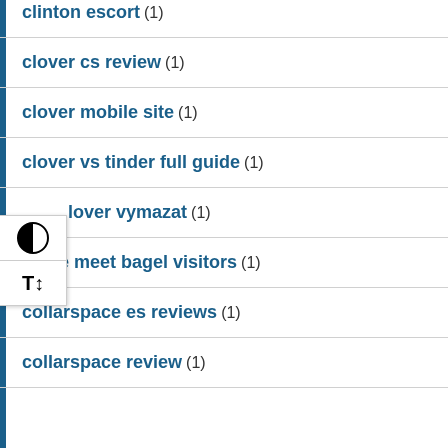clinton escort (1)
clover cs review (1)
clover mobile site (1)
clover vs tinder full guide (1)
clover vymazat (1)
cofee meet bagel visitors (1)
collarspace es reviews (1)
collarspace review (1)